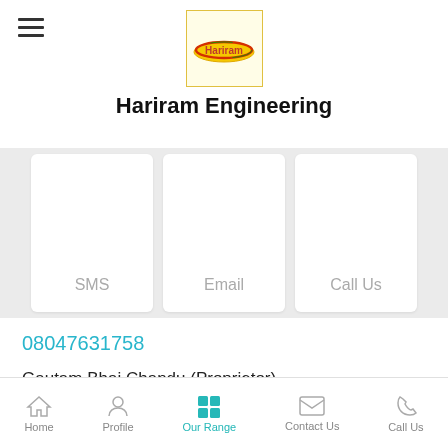[Figure (logo): Hariram logo in yellow box with red and green oval swoosh]
Hariram Engineering
[Figure (infographic): Three white cards with labels: SMS, Email, Call Us]
08047631758
Gautam Bhai Chandu (Proprietor)
Hariram Engineering
B/46-50, Maruti Industrial Estate, Udhna, Surat -
Home  Profile  Our Range  Contact Us  Call Us